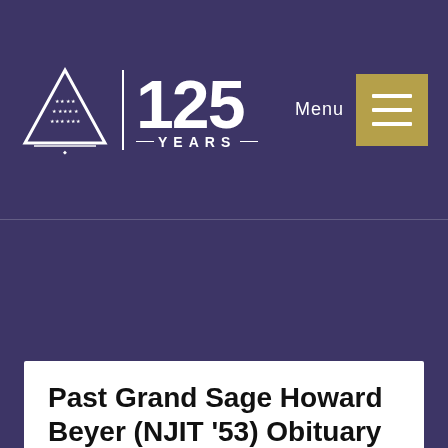125 YEARS | Menu
[Figure (logo): Triangle logo with stars and '125 YEARS' text, with hamburger menu button]
Past Grand Sage Howard Beyer (NJIT '53) Obituary